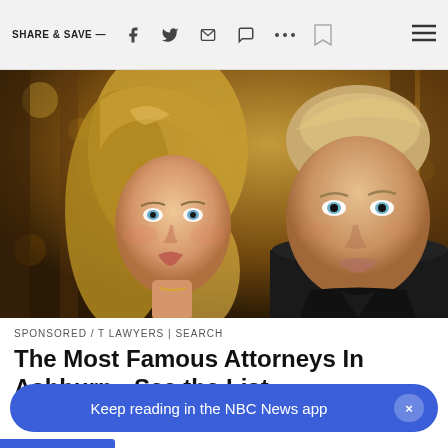SHARE & SAVE —
[Figure (photo): Close-up photo of a blonde woman and a man with short blonde hair, both with blue eyes, against a warm dark background with bokeh lighting.]
SPONSORED / T LAWYERS | SEARCH
The Most Famous Attorneys In Ashburn - See the List
Keep reading in the NBC News app  ×